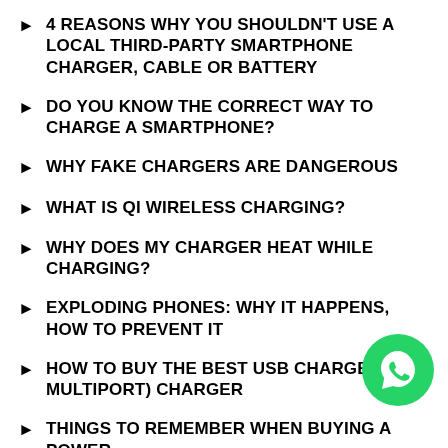4 REASONS WHY YOU SHOULDN'T USE A LOCAL THIRD-PARTY SMARTPHONE CHARGER, CABLE OR BATTERY
DO YOU KNOW THE CORRECT WAY TO CHARGE A SMARTPHONE?
WHY FAKE CHARGERS ARE DANGEROUS
WHAT IS QI WIRELESS CHARGING?
WHY DOES MY CHARGER HEAT WHILE CHARGING?
EXPLODING PHONES: WHY IT HAPPENS, HOW TO PREVENT IT
HOW TO BUY THE BEST USB CHARGER (USB MULTIPORT) CHARGER
THINGS TO REMEMBER WHEN BUYING A POWER
[Figure (logo): WhatsApp green circular logo button]